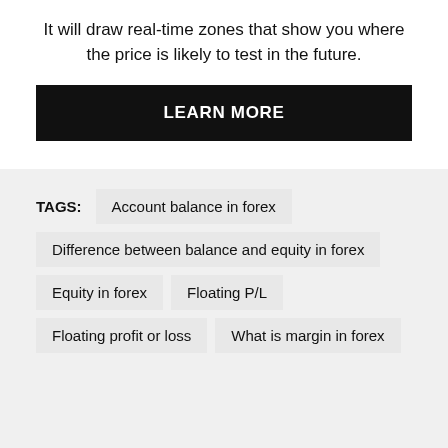It will draw real-time zones that show you where the price is likely to test in the future.
[Figure (other): Black button with white bold text reading LEARN MORE]
TAGS: Account balance in forex
Difference between balance and equity in forex
Equity in forex
Floating P/L
Floating profit or loss
What is margin in forex